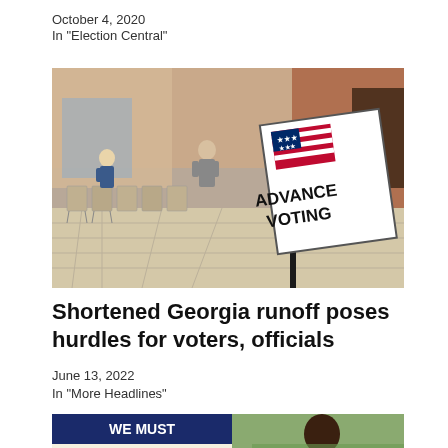October 4, 2020
In "Election Central"
[Figure (photo): Outdoor advance voting location sign with American flag graphic. People and folding chairs visible in background near a brick building.]
Shortened Georgia runoff poses hurdles for voters, officials
June 13, 2022
In "More Headlines"
[Figure (photo): Partial view of a sign reading 'WE MUST PROTECT OUR' with a person visible to the right, background blurred green.]